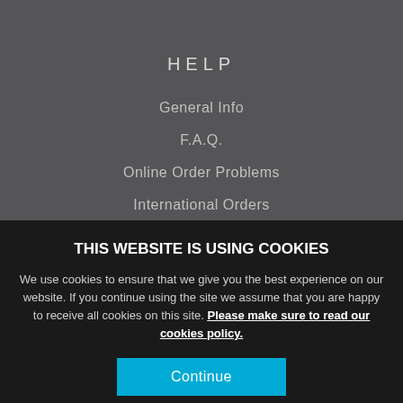HELP
General Info
F.A.Q.
Online Order Problems
International Orders
Customer Service
THIS WEBSITE IS USING COOKIES
We use cookies to ensure that we give you the best experience on our website. If you continue using the site we assume that you are happy to receive all cookies on this site. Please make sure to read our cookies policy.
Continue